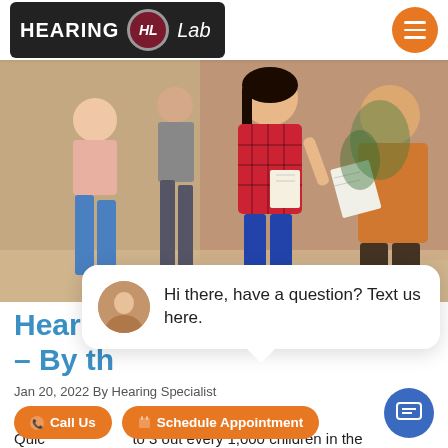HEARING HL Lab
[Figure (photo): People standing and talking in an indoor setting; a woman in a red plaid shirt holds a notebook and gestures while speaking to another person in an orange sweater; other people visible in background.]
close
Hi there, have a question? Text us here.
Hearing ... – By th...
Jan 20, 2022 By Hearing Specialist
Call Us
Schedule Appointment
Quic... to 3 out every 1,000 children in the United States are born with